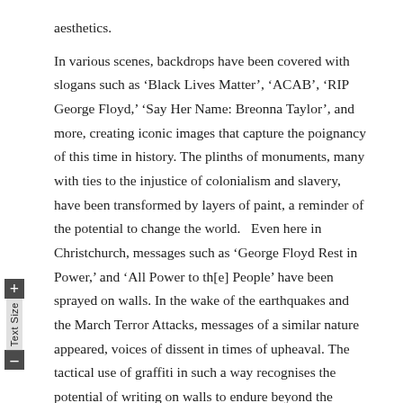aesthetics.

In various scenes, backdrops have been covered with slogans such as 'Black Lives Matter', 'ACAB', 'RIP George Floyd,' 'Say Her Name: Breonna Taylor', and more, creating iconic images that capture the poignancy of this time in history. The plinths of monuments, many with ties to the injustice of colonialism and slavery, have been transformed by layers of paint, a reminder of the potential to change the world.   Even here in Christchurch, messages such as 'George Floyd Rest in Power,' and 'All Power to th[e] People' have been sprayed on walls. In the wake of the earthquakes and the March Terror Attacks, messages of a similar nature appeared, voices of dissent in times of upheaval. The tactical use of graffiti in such a way recognises the potential of writing on walls to endure beyond the dissipation of vocal cries, as well as the need to disrupt deeply entrenched systemic issues by attacking the façade of their control. In stereo, the chants, signs and graffiti form a swelling